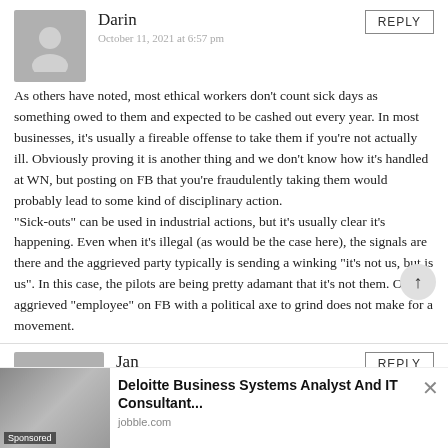Darin
October 11, 2021 at 6:57 pm
REPLY
As others have noted, most ethical workers don’t count sick days as something owed to them and expected to be cashed out every year. In most businesses, it’s usually a fireable offense to take them if you’re not actually ill. Obviously proving it is another thing and we don’t know how it’s handled at WN, but posting on FB that you’re fraudulently taking them would probably lead to some kind of disciplinary action.

“Sick-outs” can be used in industrial actions, but it’s usually clear it’s happening. Even when it’s illegal (as would be the case here), the signals are there and the aggrieved party typically is sending a winking “it’s not us, but is us”. In this case, the pilots are being pretty adamant that it’s not them. One aggrieved “employee” on FB with a political axe to grind does not make for a movement.
Jan
REPLY
[Figure (infographic): Advertisement banner: Deloitte Business Systems Analyst And IT Consultant sponsored ad from jobble.com with office photo and close/dismiss button]